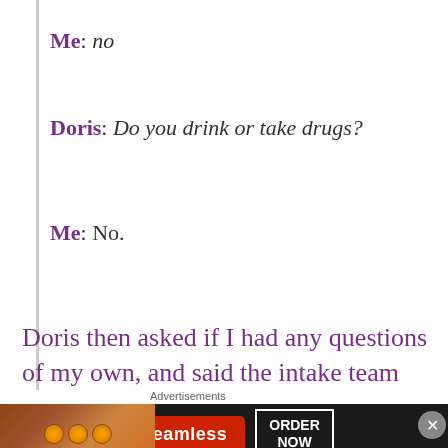Me: no
Doris: Do you drink or take drugs?
Me: No.
Doris then asked if I had any questions of my own, and said the intake team “would be in touch with me in a day or so”. She also said they
[Figure (screenshot): Advertisement banner for Seamless food delivery with pizza image, Seamless logo, and ORDER NOW button]